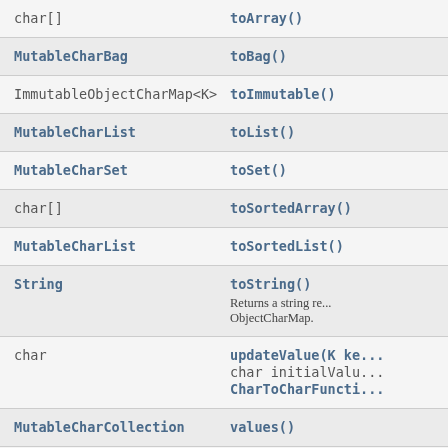| Return Type | Method |
| --- | --- |
| char[] | toArray() |
| MutableCharBag | toBag() |
| ImmutableObjectCharMap<K> | toImmutable() |
| MutableCharList | toList() |
| MutableCharSet | toSet() |
| char[] | toSortedArray() |
| MutableCharList | toSortedList() |
| String | toString()
Returns a string re... ObjectCharMap. |
| char | updateValue(K ke... char initialValu... CharToCharFuncti... |
| MutableCharCollection | values() |
| MutableObjectCharMap<K> | withKeyValue(K k... |
| MutableObjectCharMap<K> | withoutAllKeys(T... |